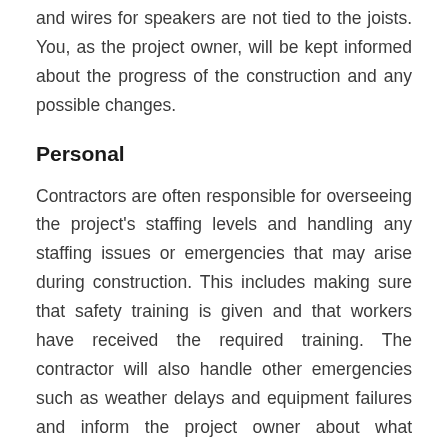and wires for speakers are not tied to the joists. You, as the project owner, will be kept informed about the progress of the construction and any possible changes.
Personal
Contractors are often responsible for overseeing the project's staffing levels and handling any staffing issues or emergencies that may arise during construction. This includes making sure that safety training is given and that workers have received the required training. The contractor will also handle other emergencies such as weather delays and equipment failures and inform the project owner about what happened and the steps taken to resolve it.